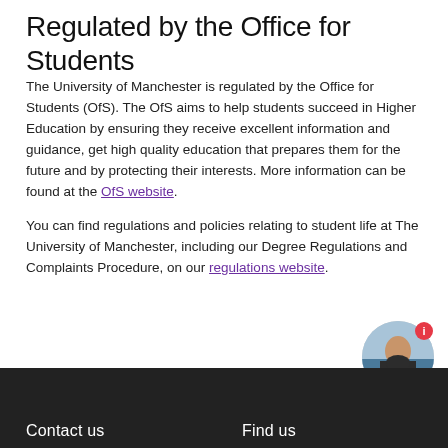Regulated by the Office for Students
The University of Manchester is regulated by the Office for Students (OfS). The OfS aims to help students succeed in Higher Education by ensuring they receive excellent information and guidance, get high quality education that prepares them for the future and by protecting their interests. More information can be found at the OfS website.
You can find regulations and policies relating to student life at The University of Manchester, including our Degree Regulations and Complaints Procedure, on our regulations website.
Contact us    Find us